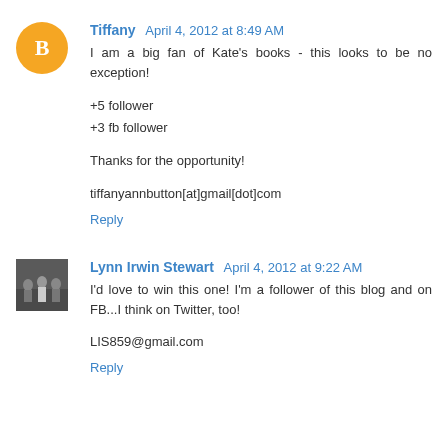Tiffany April 4, 2012 at 8:49 AM
I am a big fan of Kate's books - this looks to be no exception!

+5 follower
+3 fb follower

Thanks for the opportunity!

tiffanyannbutton[at]gmail[dot]com

Reply
Lynn Irwin Stewart April 4, 2012 at 9:22 AM
I'd love to win this one! I'm a follower of this blog and on FB...I think on Twitter, too!

LIS859@gmail.com

Reply